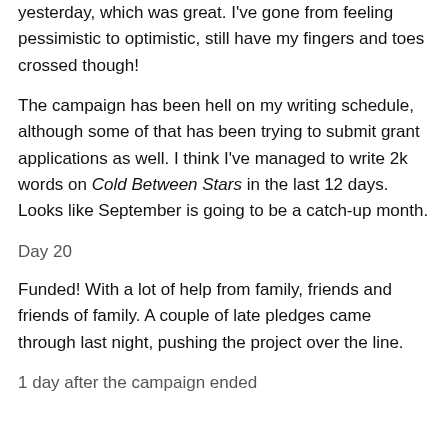yesterday, which was great. I've gone from feeling pessimistic to optimistic, still have my fingers and toes crossed though!
The campaign has been hell on my writing schedule, although some of that has been trying to submit grant applications as well. I think I've managed to write 2k words on Cold Between Stars in the last 12 days. Looks like September is going to be a catch-up month.
Day 20
Funded! With a lot of help from family, friends and friends of family. A couple of late pledges came through last night, pushing the project over the line.
1 day after the campaign ended